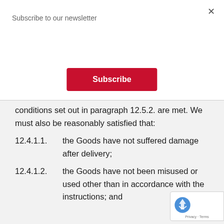Subscribe to our newsletter
Subscribe
conditions set out in paragraph 12.5.2. are met. We must also be reasonably satisfied that:
12.4.1.1.      the Goods have not suffered damage after delivery;
12.4.1.2.      the Goods have not been misused or used other than in accordance with the instructions; and